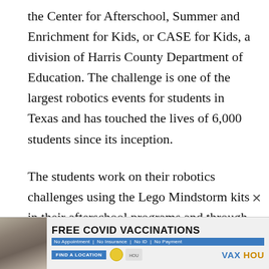the Center for Afterschool, Summer and Enrichment for Kids, or CASE for Kids, a division of Harris County Department of Education. The challenge is one of the largest robotics events for students in Texas and has touched the lives of 6,000 students since its inception.
The students work on their robotics challenges using the Lego Mindstorm kits in their afterschool programs and through community organizations.
[Figure (other): Advertisement banner for Free COVID Vaccinations showing a woman's photo on the left, bold text 'FREE COVID VACCINATIONS', subtitle 'No Appointment | No Insurance | No ID | No Payment', a blue 'FIND A LOCATION' button, logos, and 'VAX HOU' branding.]